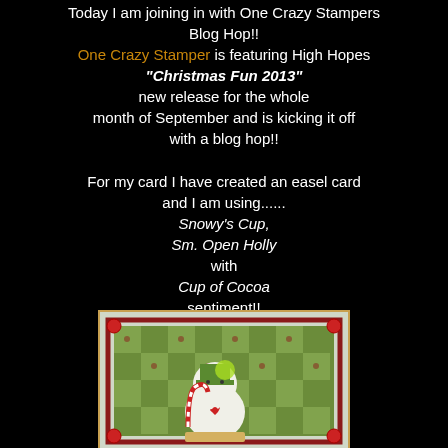Today I am joining in with One Crazy Stampers Blog Hop!! One Crazy Stamper is featuring High Hopes "Christmas Fun 2013" new release for the whole month of September and is kicking it off with a blog hop!!
For my card I have created an easel card and I am using...... Snowy's Cup, Sm. Open Holly with Cup of Cocoa sentiment!!
[Figure (photo): A handmade Christmas easel card featuring a cartoon dog with a candy cane on a green checkered background with red border and red gem embellishments in the corners.]